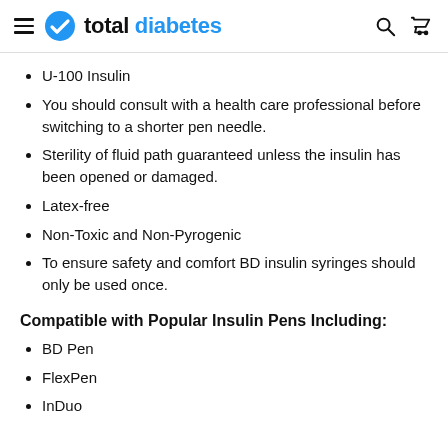total diabetes
U-100 Insulin
You should consult with a health care professional before switching to a shorter pen needle.
Sterility of fluid path guaranteed unless the insulin has been opened or damaged.
Latex-free
Non-Toxic and Non-Pyrogenic
To ensure safety and comfort BD insulin syringes should only be used once.
Compatible with Popular Insulin Pens Including:
BD Pen
FlexPen
InDuo